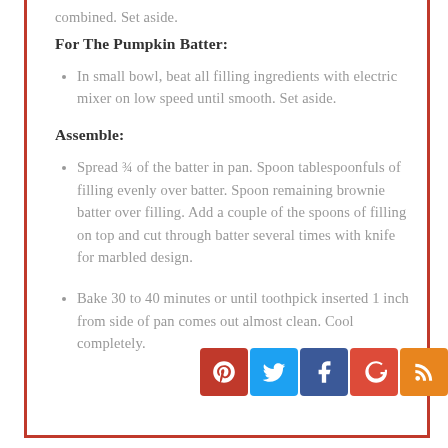combined. Set aside.
For The Pumpkin Batter:
In small bowl, beat all filling ingredients with electric mixer on low speed until smooth. Set aside.
Assemble:
Spread ¾ of the batter in pan. Spoon tablespoonfuls of filling evenly over batter. Spoon remaining brownie batter over filling. Add a couple of the spoons of filling on top and cut through batter several times with knife for marbled design.
Bake 30 to 40 minutes or until toothpick inserted 1 inch from side of pan comes out almost clean. Cool completely.
[Figure (other): Social sharing icons: Pinterest, Twitter, Facebook, Google+, RSS feed]